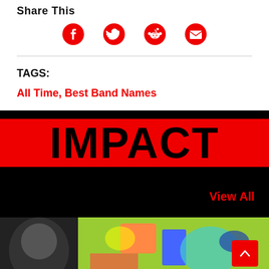Share This
[Figure (infographic): Social sharing icons: Facebook, Twitter, Reddit, Email — all in red]
TAGS:
All Time, Best Band Names
IMPACT
View All
[Figure (photo): Colorful street art / illustration image at the bottom of the page]